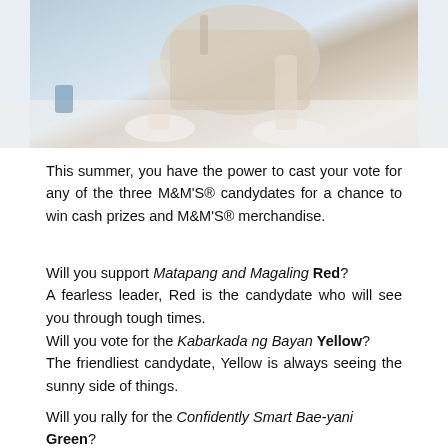[Figure (photo): Photo of a person's lower body with a beige/cream colored tote bag and white sneakers/slippers on a light surface]
This summer, you have the power to cast your vote for any of the three M&M'S® candydates for a chance to win cash prizes and M&M'S® merchandise.
Will you support Matapang and Magaling Red? A fearless leader, Red is the candydate who will see you through tough times.
Will you vote for the Kabarkada ng Bayan Yellow? The friendliest candydate, Yellow is always seeing the sunny side of things.
Will you rally for the Confidently Smart Bae-yani Green? The epitome of Girl Power, Green is a magnetic candydate who has both charm & intelligence.